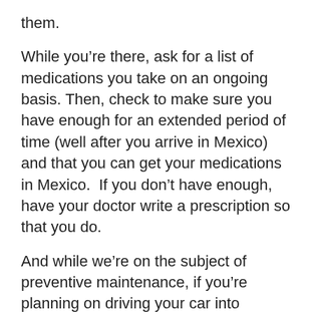them.
While you’re there, ask for a list of medications you take on an ongoing basis. Then, check to make sure you have enough for an extended period of time (well after you arrive in Mexico) and that you can get your medications in Mexico.  If you don’t have enough, have your doctor write a prescription so that you do.
And while we’re on the subject of preventive maintenance, if you’re planning on driving your car into Mexico, have that NOB 108-point check enough beforehand so that, if they find something, you can have it fixed before you leave, rather than on the side of the road in Mexico next to a bemused goat in a corn field between two towns whose names you can’t